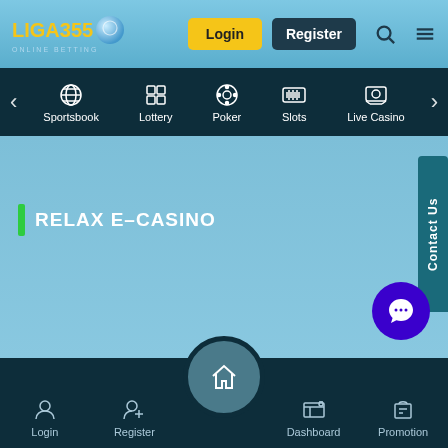[Figure (screenshot): Liga355 online betting website header with logo, Login and Register buttons, search and menu icons]
[Figure (screenshot): Navigation bar with Sportsbook, Lottery, Poker, Slots, Live Casino categories]
RELAX E-CASINO
[Figure (screenshot): Contact Us vertical tab on right side, blue chat bubble icon, bottom navigation bar with Login, Register, Home, Dashboard, Promotion]